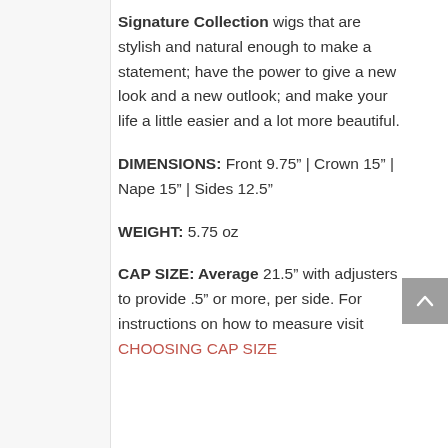Signature Collection wigs that are stylish and natural enough to make a statement; have the power to give a new look and a new outlook; and make your life a little easier and a lot more beautiful.
DIMENSIONS: Front 9.75" | Crown 15" | Nape 15" | Sides 12.5"
WEIGHT: 5.75 oz
CAP SIZE: Average 21.5" with adjusters to provide .5" or more, per side. For instructions on how to measure visit CHOOSING CAP SIZE